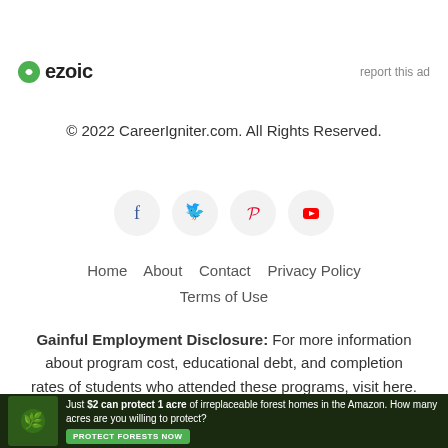[Figure (logo): Ezoic logo with green circular icon and bold text 'ezoic', with 'report this ad' link on the right]
© 2022 CareerIgniter.com. All Rights Reserved.
[Figure (other): Social media icons: Facebook (blue), Twitter (blue), Pinterest (red), YouTube (red) in circular grey buttons]
Home   About   Contact   Privacy Policy
Terms of Use
Gainful Employment Disclosure: For more information about program cost, educational debt, and completion rates of students who attended these programs, visit here.
[Figure (other): Video overlay with text: No compatible source was found for this media.]
[Figure (other): Advertisement banner: Just $2 can protect 1 acre of irreplaceable forest homes in the Amazon. How many acres are you willing to protect? PROTECT FORESTS NOW]